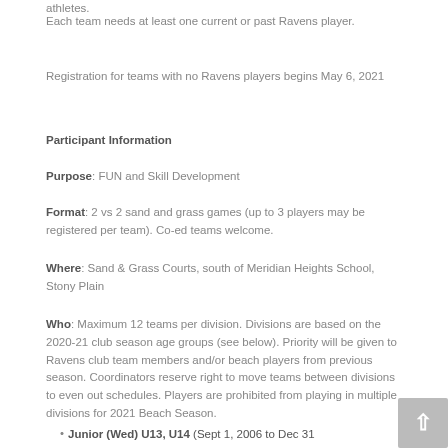athletes.
Each team needs at least one current or past Ravens player.
Registration for teams with no Ravens players begins May 6, 2021
Participant Information
Purpose: FUN and Skill Development
Format: 2 vs 2 sand and grass games (up to 3 players may be registered per team). Co-ed teams welcome.
Where: Sand & Grass Courts, south of Meridian Heights School, Stony Plain
Who: Maximum 12 teams per division. Divisions are based on the 2020-21 club season age groups (see below). Priority will be given to Ravens club team members and/or beach players from previous season. Coordinators reserve right to move teams between divisions to even out schedules. Players are prohibited from playing in multiple divisions for 2021 Beach Season.
Junior (Wed) U13, U14 (Sept 1, 2006 to Dec 31